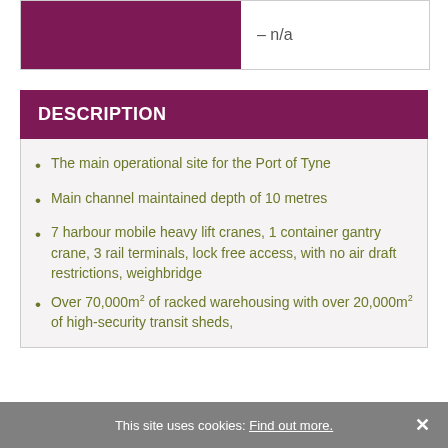|  |  |
| --- | --- |
|  | – n/a |
DESCRIPTION
The main operational site for the Port of Tyne
Main channel maintained depth of 10 metres
7 harbour mobile heavy lift cranes, 1 container gantry crane, 3 rail terminals, lock free access, with no air draft restrictions, weighbridge
Over 70,000m² of racked warehousing with over 20,000m² of high-security transit sheds,
This site uses cookies: Find out more. ×